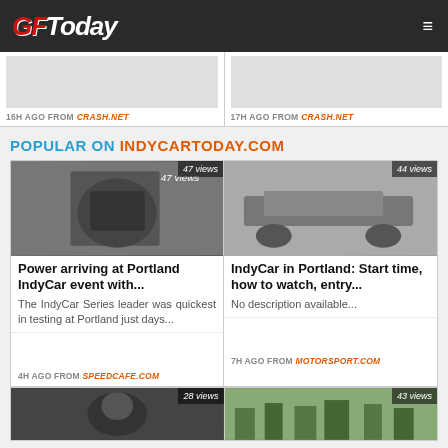GFToday
16H AGO FROM CRASH.NET
17H AGO FROM CRASH.NET
POPULAR ON INDYCARTODAY.COM
[Figure (photo): Racing driver in black Verizon suit standing at pit lane, 47 views]
Power arriving at Portland IndyCar event with...
The IndyCar Series leader was quickest in testing at Portland just days...
4H AGO FROM SPEEDCAFE.COM
[Figure (photo): IndyCar race car on track with smoke, 44 views]
IndyCar in Portland: Start time, how to watch, entry...
No description available...
7H AGO FROM MOTORSPORT.COM
[Figure (photo): Driver with sunglasses, 28 views]
[Figure (photo): Outdoor scene with trees, 43 views]